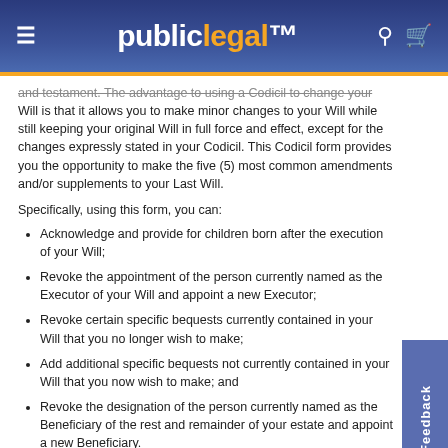publiclegal
and testament. The advantage to using a Codicil to change your Will is that it allows you to make minor changes to your Will while still keeping your original Will in full force and effect, except for the changes expressly stated in your Codicil. This Codicil form provides you the opportunity to make the five (5) most common amendments and/or supplements to your Last Will.
Specifically, using this form, you can:
Acknowledge and provide for children born after the execution of your Will;
Revoke the appointment of the person currently named as the Executor of your Will and appoint a new Executor;
Revoke certain specific bequests currently contained in your Will that you no longer wish to make;
Add additional specific bequests not currently contained in your Will that you now wish to make; and
Revoke the designation of the person currently named as the Beneficiary of the rest and remainder of your estate and appoint a new Beneficiary.